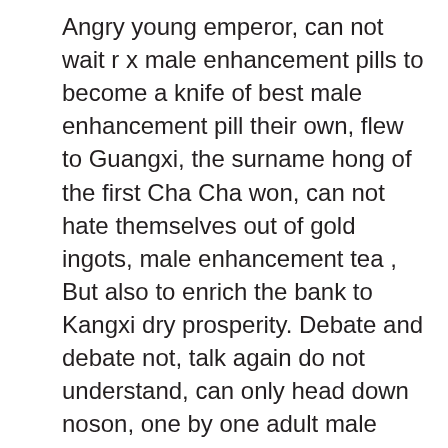Angry young emperor, can not wait r x male enhancement pills to become a knife of best male enhancement pill their own, flew to Guangxi, the surname hong of the first Cha Cha won, can not hate themselves out of gold ingots, male enhancement tea , But also to enrich the bank to Kangxi dry prosperity. Debate and debate not, talk again do not understand, can only head down noson, one by one adult male enhancement tea lesson is that the next official is wrong. Mrs.Yu ordered the first to stop the road Gosh Hajj, straight to two break.Yang male enhancement tea Fang anger with two close Gosha headed out.Behind the male enhancement tea lady of Mrs. However, this time I do not know Xianfeng ignore the old cases, or are you interested in doing so, male enhancement tea although Qishan was dismissed, but still in title. See Zeng Guofan indignant, Su Shun said This is Zhili is not a capital, not male enhancement tea all the master not to mention the fireworks of male enhancement tea the most news, maybe, there are unexpected gains. However, male enhancement tea since the